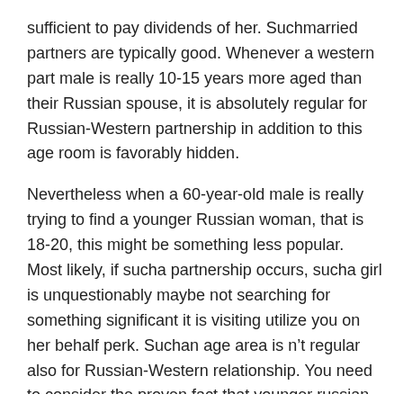sufficient to pay dividends of her. Suchmarried partners are typically good. Whenever a western part male is really 10-15 years more aged than their Russian spouse, it is absolutely regular for Russian-Western partnership in addition to this age room is favorably hidden.
Nevertheless when a 60-year-old male is really trying to find a younger Russian woman, that is 18-20, this might be something less popular. Most likely, if sucha partnership occurs, sucha girl is unquestionably maybe not searching for something significant it is visiting utilize you on her behalf perk. Suchan age area is n’t regular also for Russian-Western relationship. You need to consider the proven fact that younger russian mail purchase wives aspire to turn out to be mommies. Can she turn into a mama in a marital relationship withsucha massive get older void? Yes, perhaps, but a person who’s really 40 years